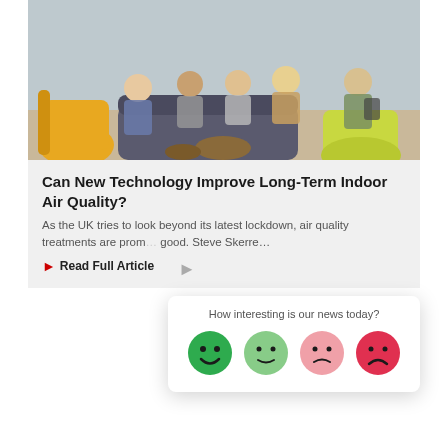[Figure (photo): Photo of people sitting on sofas and chairs in a modern lounge area, having a group discussion. Colorful yellow and green chairs visible.]
Can New Technology Improve Long-Term Indoor Air Quality?
As the UK tries to look beyond its latest lockdown, air quality treatments are promising what good. Steve Skerre...
Read Full Article
How interesting is our news today?
[Figure (infographic): Four emoji faces rating scale: happy (dark green), neutral-happy (light green), neutral-sad (light pink), sad (dark pink/red)]
[Figure (photo): Close-up 3D render of a coronavirus particle, showing the grey spherical body with red spike proteins and orange details on a white background.]